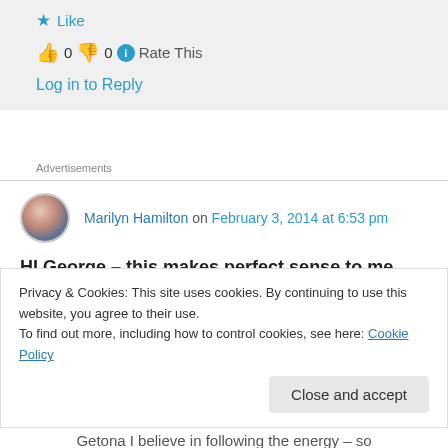Like
👍 0 👎 0 ℹ Rate This
Log in to Reply
Advertisements
Marilyn Hamilton on February 3, 2014 at 6:53 pm
HI George – this makes perfect sense to me thru
Privacy & Cookies: This site uses cookies. By continuing to use this website, you agree to their use.
To find out more, including how to control cookies, see here: Cookie Policy
Close and accept
Getona I believe in following the energy – so